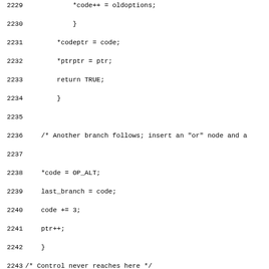Source code listing lines 2229-2261 showing C code for regex compilation including branch handling, OP_ALT insertion, and first significant op code finder function with comments and argument documentation.